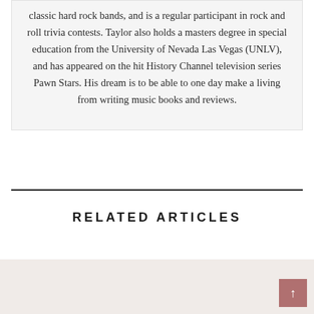classic hard rock bands, and is a regular participant in rock and roll trivia contests. Taylor also holds a masters degree in special education from the University of Nevada Las Vegas (UNLV), and has appeared on the hit History Channel television series Pawn Stars. His dream is to be able to one day make a living from writing music books and reviews.
RELATED ARTICLES